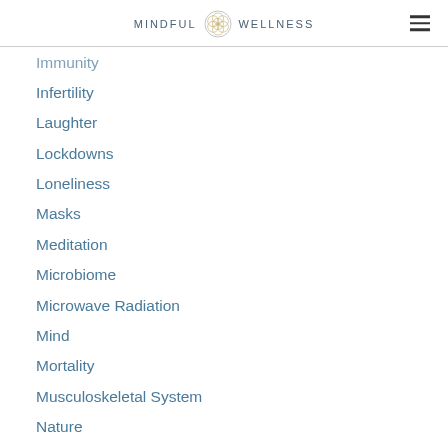MINDFUL WELLNESS
Immunity
Infertility
Laughter
Lockdowns
Loneliness
Masks
Meditation
Microbiome
Microwave Radiation
Mind
Mortality
Musculoskeletal System
Nature
Neuroplasticity
Nutrition
Omega 3
Omega-3